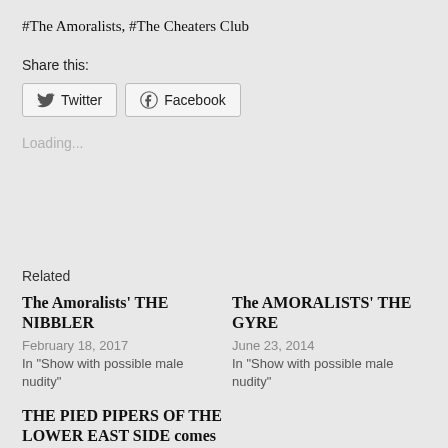#The Amoralists, #The Cheaters Club
Share this:
[Figure (other): Twitter and Facebook share buttons]
Loading...
Related
The Amoralists' THE NIBBLER
February 18, 2017
In "Show with possible male nudity"
The AMORALISTS' THE GYRE
June 23, 2014
In "Show with possible male nudity"
THE PIED PIPERS OF THE LOWER EAST SIDE comes